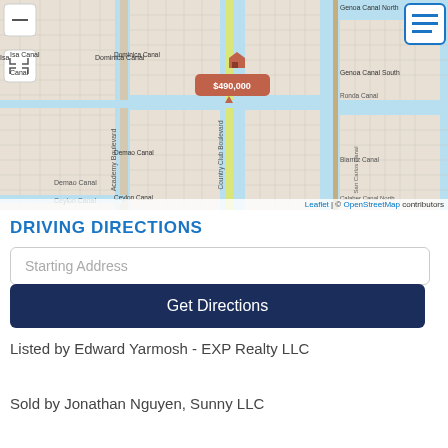[Figure (map): Leaflet/OpenStreetMap map showing a residential area with canals (Genoa Canal North, Genoa Canal South, Ronda Canal, Dominica Canal, Biarritz Canal, Demao Canal, Ceylon Canal), streets (Academy Boulevard, Country Club Boulevard, San Carlos Canal), and a property marker showing $490,000 in an orange callout.]
Leaflet | © OpenStreetMap contributors
DRIVING DIRECTIONS
Starting Address
Get Directions
Listed by Edward Yarmosh - EXP Realty LLC
Sold by Jonathan Nguyen, Sunny LLC